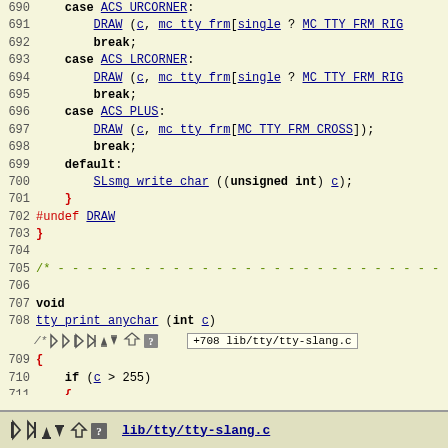[Figure (screenshot): Source code viewer showing C code lines 690-715 from lib/tty/tty-slang.c with syntax highlighting, navigation icons, and a tooltip showing '+708 lib/tty/tty-slang.c']
lib/tty/tty-slang.c